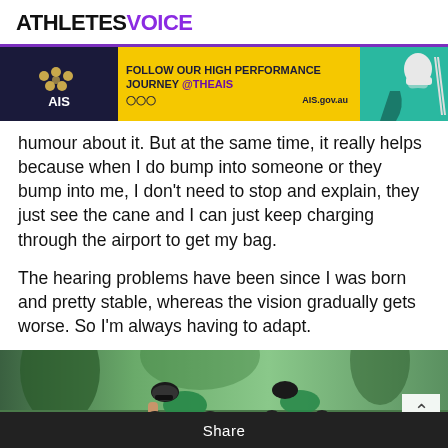ATHLETES VOICE
[Figure (infographic): AIS advertisement banner: dark navy left with AIS logo, yellow right with text 'FOLLOW OUR HIGH PERFORMANCE JOURNEY @theAIS', social media icons, AIS.gov.au, and athlete photo on right]
humour about it. But at the same time, it really helps because when I do bump into someone or they bump into me, I don't need to stop and explain, they just see the cane and I can just keep charging through the airport to get my bag.
The hearing problems have been since I was born and pretty stable, whereas the vision gradually gets worse. So I'm always having to adapt.
[Figure (photo): Two cyclists in green and yellow Australian team uniforms and helmets riding bicycles, photographed in a wooded/park setting]
Share